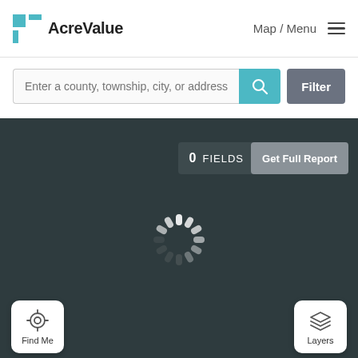[Figure (logo): AcreValue logo with teal grid icon and bold text 'AcreValue']
Map / Menu ≡
[Figure (screenshot): Search bar with placeholder 'Enter a county, township, city, or address', a teal search button with magnifying glass icon, and a gray Filter button]
[Figure (screenshot): Dark map area showing '0 FIELDS' dropdown button, 'Get Full Report' button, a loading spinner, 'Find Me' button in bottom left, and 'Layers' button in bottom right]